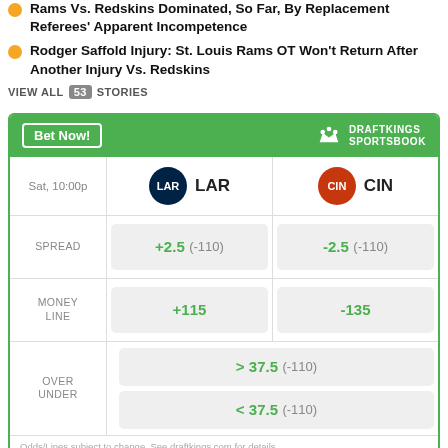Rams Vs. Redskins Dominated, So Far, By Replacement Referees' Apparent Incompetence
Rodger Saffold Injury: St. Louis Rams OT Won't Return After Another Injury Vs. Redskins
VIEW ALL 53 STORIES
[Figure (infographic): DraftKings Sportsbook betting widget showing LAR vs CIN odds. Spread: LAR +2.5 (-110), CIN -2.5 (-110). Money Line: LAR +115, CIN -135. Over/Under: > 37.5 (-110), < 37.5 (-110). Sat 10:00p.]